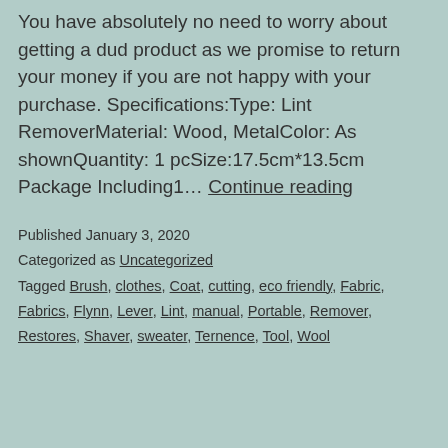You have absolutely no need to worry about getting a dud product as we promise to return your money if you are not happy with your purchase. Specifications:Type: Lint RemoverMaterial: Wood, MetalColor: As shownQuantity: 1 pcSize:17.5cm*13.5cm Package Including1… Continue reading
Published January 3, 2020
Categorized as Uncategorized
Tagged Brush, clothes, Coat, cutting, eco friendly, Fabric, Fabrics, Flynn, Lever, Lint, manual, Portable, Remover, Restores, Shaver, sweater, Ternence, Tool, Wool